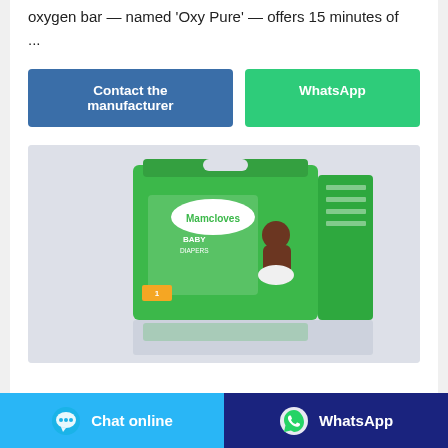oxygen bar — named 'Oxy Pure' — offers 15 minutes of ...
Contact the manufacturer | WhatsApp
[Figure (photo): Product photo of Mamcloves Baby Diapers green packaging box with a baby on the front, shown on a light grey background with a reflection below.]
Chat online | WhatsApp